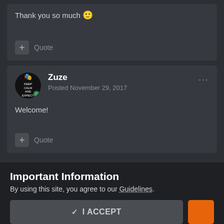Thank you so much 🙂
+ Quote
Zuze
Posted November 29, 2017
Welcome!
+ Quote
Important Information
By using this site, you agree to our Guidelines.
✓ I ACCEPT